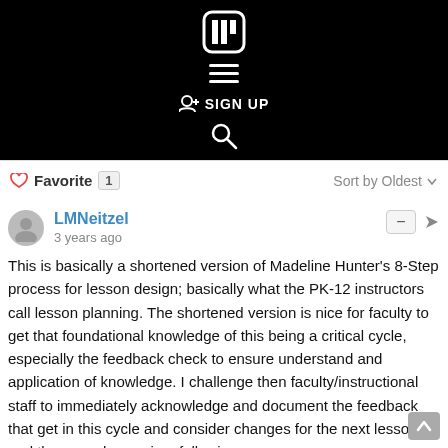[Figure (screenshot): Black navigation header bar with a white logo icon resembling two overlapping rectangles (FF), a hamburger menu icon (three horizontal lines), a person-plus icon with 'SIGN UP' text in white, and a magnifying glass search icon.]
Favorite 1   Sort by Oldest
LMNeitzel
3 years ago
This is basically a shortened version of Madeline Hunter's 8-Step process for lesson design; basically what the PK-12 instructors call lesson planning. The shortened version is nice for faculty to get that foundational knowledge of this being a critical cycle, especially the feedback check to ensure understand and application of knowledge. I challenge then faculty/instructional staff to immediately acknowledge and document the feedback that get in this cycle and consider changes for the next lesson and the same lesson in a following